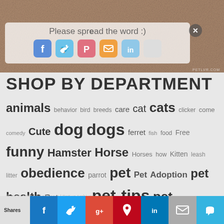[Figure (photo): Brown/tan textured animal fur background image with a semi-transparent white overlay showing 'Please spread the word :)' text and social media sharing icons (Facebook, Twitter, Pinterest, RSS, LinkedIn, Email), plus a close X button in top right]
SHOP BY DEPARTMENT
animals behavior bird breeds care cat cats clicker come comedy Cute dog dogs ferret fish food Free funny Hamster Horse Horses how Kitten leash litter obedience parrot pet Pet Adoption pet health Pet rescue pet tips pet training puppies puppy rabbit rats stop teach to train training tricks video WHS
© 2005-2022 and all years | PetLvr Archives
[Figure (infographic): Bottom social sharing bar with Shares label and colored buttons: Facebook (blue), Twitter (light blue), Google+ (red/orange), Pinterest (dark red), LinkedIn (blue), Email (gray), Crown/Sumo (teal)]